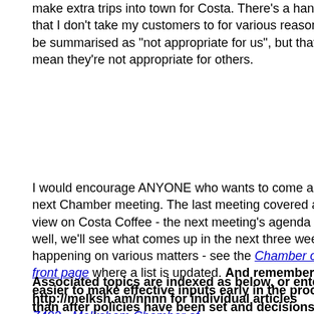make extra trips into town for Costa. There's a handful of places that I don't take my customers to for various reasons which can be summarised as "not appropriate for us", but that doesn't mean they're not appropriate for others.
I would encourage ANYONE who wants to come along to the next Chamber meeting. The last meeting covered and took a view on Costa Coffee - the next meeting's agenda will include - well, we'll see what comes up in the next three weeks. Much is happening on various matters - see the Chamber of Commerce front page where a list is updated. And remember - it's much easier to make effective inputs early in the process, rather than after policies have been set and decisions reached (written 2013-02-22, updated 2013-02-23)
Associated topics are indexed as below, or enter http://melksh.am/nnnn for individual articles Z402 - Melksham Chamber of